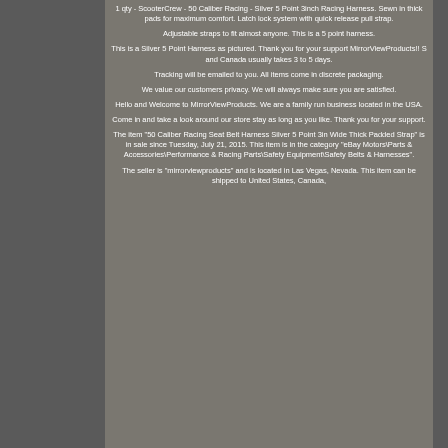1 qty - ScooterCrew - 50 Caliber Racing - Silver 5 Point 3inch Racing Harness. Sewn in thick pads for maximum comfort. Latch lock system with quick release pull strap.
Adjustable straps to fit almost anyone. This is a 5 point harness.
This is a Silver 5 Point Harness as pictured. Thank you for your support MirrorViewProducts!! S and Canada usually takes 3 to 5 days.
Tracking will be emailed to you. All items come in discrete packaging.
We value our customers privacy. We will always make sure you are satisfied.
Hello and Welcome to MirrorViewProducts. We are a family run business located in the USA.
Come in and take a look around our store stay as long as you like. Thank you for your support.
The item "50 Caliber Racing Seat Belt Harness Silver 5 Point 3in Wide Thick Padded Strap" is in sale since Tuesday, July 21, 2015. This item is in the category "eBay Motors\Parts & Accessories\Performance & Racing Parts\Safety Equipment\Safety Belts & Harnesses".
The seller is "mirrorviewproducts" and is located in Las Vegas, Nevada. This item can be shipped to United States, Canada,